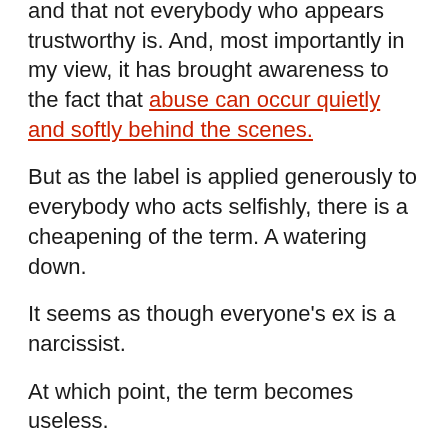and that not everybody who appears trustworthy is. And, most importantly in my view, it has brought awareness to the fact that abuse can occur quietly and softly behind the scenes.
But as the label is applied generously to everybody who acts selfishly, there is a cheapening of the term. A watering down.
It seems as though everyone's ex is a narcissist.
At which point, the term becomes useless.
Labels are designed to be a shorthand for understanding. A starting point for awareness. Not an endpoint for assumptions. Or a focal point for your life.